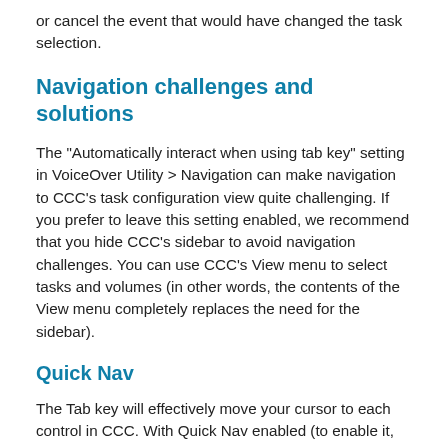or cancel the event that would have changed the task selection.
Navigation challenges and solutions
The "Automatically interact when using tab key" setting in VoiceOver Utility > Navigation can make navigation to CCC’s task configuration view quite challenging. If you prefer to leave this setting enabled, we recommend that you hide CCC’s sidebar to avoid navigation challenges. You can use CCC’s View menu to select tasks and volumes (in other words, the contents of the View menu completely replaces the need for the sidebar).
Quick Nav
The Tab key will effectively move your cursor to each control in CCC. With Quick Nav enabled (to enable it, simultaneously press the left and right arrow keys)